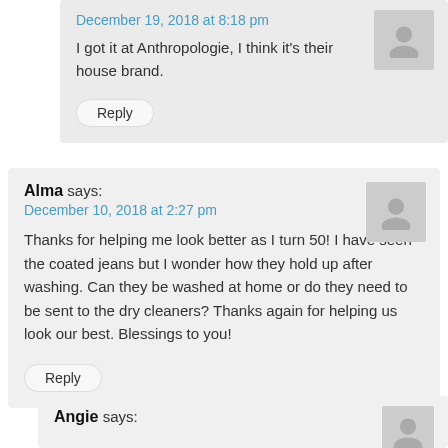December 19, 2018 at 8:18 pm
I got it at Anthropologie, I think it's their house brand.
Reply
Alma says:
December 10, 2018 at 2:27 pm
Thanks for helping me look better as I turn 50! I have seen the coated jeans but I wonder how they hold up after washing. Can they be washed at home or do they need to be sent to the dry cleaners? Thanks again for helping us look our best. Blessings to you!
Reply
Angie says: